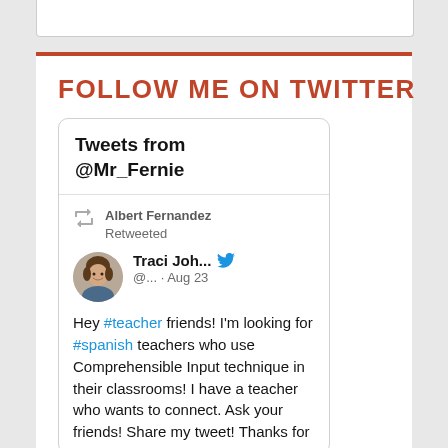FOLLOW ME ON TWITTER
[Figure (screenshot): Embedded Twitter widget showing tweets from @Mr_Fernie. Albert Fernandez Retweeted a tweet by Traci Joh... (@... · Aug 23) saying: Hey #teacher friends! I'm looking for #spanish teachers who use Comprehensible Input technique in their classrooms! I have a teacher who wants to connect. Ask your friends! Share my tweet! Thanks for]
Tweets from @Mr_Fernie
Albert Fernandez Retweeted
Traci Joh... @... · Aug 23
Hey #teacher friends! I'm looking for #spanish teachers who use Comprehensible Input technique in their classrooms! I have a teacher who wants to connect. Ask your friends! Share my tweet! Thanks for